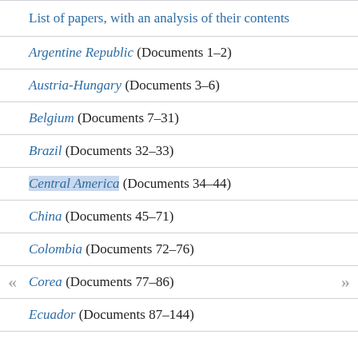List of papers, with an analysis of their contents
Argentine Republic (Documents 1–2)
Austria-Hungary (Documents 3–6)
Belgium (Documents 7–31)
Brazil (Documents 32–33)
Central America (Documents 34–44)
China (Documents 45–71)
Colombia (Documents 72–76)
Corea (Documents 77–86)
Ecuador (Documents 87–144)